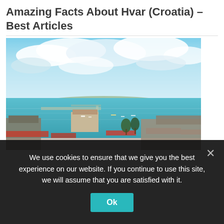Amazing Facts About Hvar (Croatia) – Best Articles
[Figure (photo): Aerial panoramic view of Hvar town harbor in Croatia, showing red-roofed buildings, marina with boats, turquoise Adriatic Sea, and dramatic cloudy sky]
We use cookies to ensure that we give you the best experience on our website. If you continue to use this site, we will assume that you are satisfied with it.